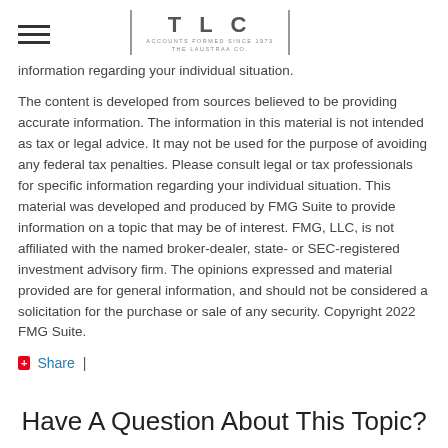TLC | The Laustraa Co.
information regarding your individual situation.
The content is developed from sources believed to be providing accurate information. The information in this material is not intended as tax or legal advice. It may not be used for the purpose of avoiding any federal tax penalties. Please consult legal or tax professionals for specific information regarding your individual situation. This material was developed and produced by FMG Suite to provide information on a topic that may be of interest. FMG, LLC, is not affiliated with the named broker-dealer, state- or SEC-registered investment advisory firm. The opinions expressed and material provided are for general information, and should not be considered a solicitation for the purchase or sale of any security. Copyright 2022 FMG Suite.
Share |
Have A Question About This Topic?